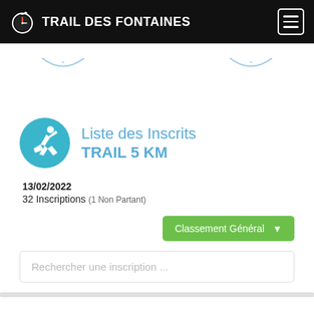TRAIL DES FONTAINES
Liste des Inscrits TRAIL 5 KM
13/02/2022
32 Inscriptions (1 Non Partant)
Classement Général
Rechercher une inscription ...